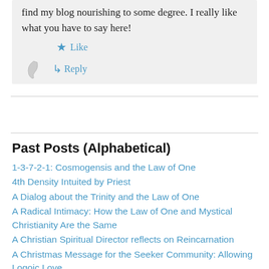find my blog nourishing to some degree. I really like what you have to say here!
Like
Reply
Past Posts (Alphabetical)
1-3-7-2-1: Cosmogensis and the Law of One
4th Density Intuited by Priest
A Dialog about the Trinity and the Law of One
A Radical Intimacy: How the Law of One and Mystical Christianity Are the Same
A Christian Spiritual Director reflects on Reincarnation
A Christmas Message for the Seeker Community: Allowing Logoic Love